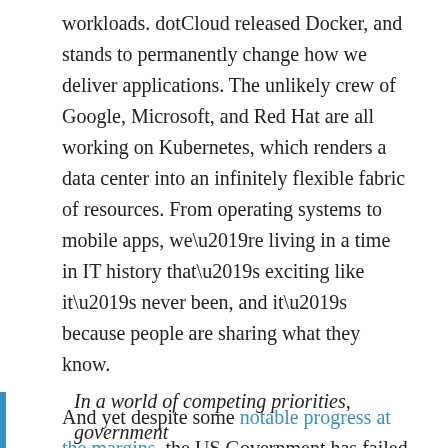workloads. dotCloud released Docker, and stands to permanently change how we deliver applications. The unlikely crew of Google, Microsoft, and Red Hat are all working on Kubernetes, which renders a data center into an infinitely flexible fabric of resources. From operating systems to mobile apps, we’re living in a time in IT history that’s exciting like it’s never been, and it’s because people are sharing what they know.
And yet despite some notable progress at the margins, the US Government has failed to embrace open source as industry has. Ben Balter of GitHub produced an excellent explainer for this, citing all the usual suspects, including FUD, procurement, and culture. In short:
In a world of competing priorities, government